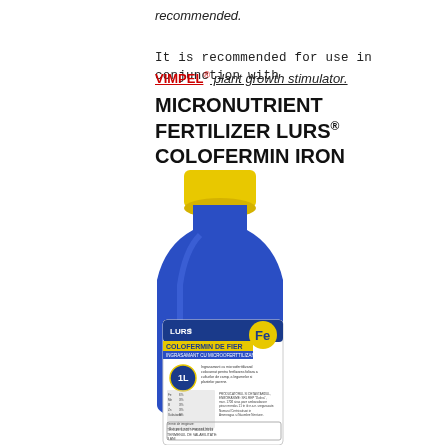recommended.
It is recommended for use in conjunction with
VIMPEL® plant growth stimulator.
MICRONUTRIENT FERTILIZER LURS® COLOFERMIN IRON
[Figure (photo): Blue plastic bottle with yellow cap containing LURS COLOFERMIN DE FIER (Iron) liquid micronutrient fertilizer, 1L, with product label showing Fe symbol and product details in Romanian.]